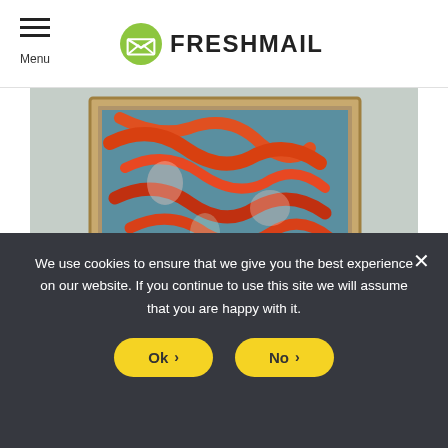Menu | FRESHMAIL
[Figure (photo): A framed painting with orange brushstrokes and floral motifs hanging on a wall, with a white draped cloth below. An author avatar and name overlay reads: Renata Gajoch-Bielecka, 6 years ago.]
9 Tools to be more creative
We use cookies to ensure that we give you the best experience on our website. If you continue to use this site we will assume that you are happy with it.